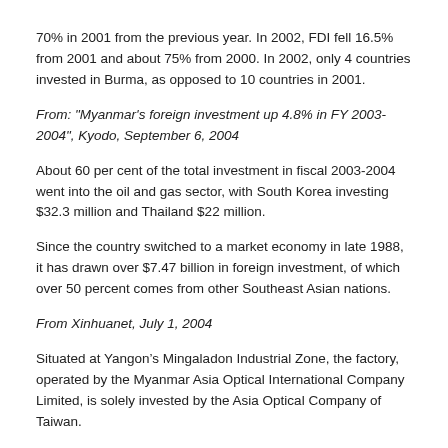70% in 2001 from the previous year. In 2002, FDI fell 16.5% from 2001 and about 75% from 2000. In 2002, only 4 countries invested in Burma, as opposed to 10 countries in 2001.
From: "Myanmar's foreign investment up 4.8% in FY 2003-2004", Kyodo, September 6, 2004
About 60 per cent of the total investment in fiscal 2003-2004 went into the oil and gas sector, with South Korea investing $32.3 million and Thailand $22 million.
Since the country switched to a market economy in late 1988, it has drawn over $7.47 billion in foreign investment, of which over 50 percent comes from other Southeast Asian nations.
From Xinhuanet, July 1, 2004
Situated at Yangon’s Mingaladon Industrial Zone, the factory, operated by the Myanmar Asia Optical International Company Limited, is solely invested by the Asia Optical Company of Taiwan.
Myanmar Prime Minister General Khin Nyunt and other ministers attended the inaugural